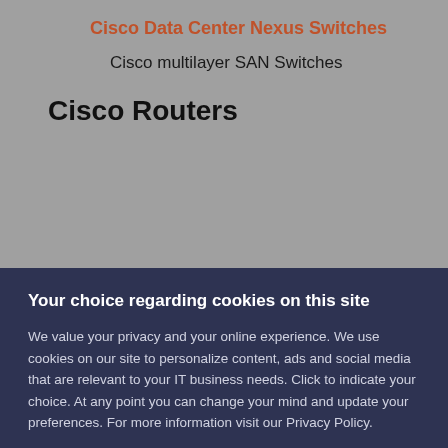Cisco Data Center Nexus Switches
Cisco multilayer SAN Switches
Cisco Routers
Your choice regarding cookies on this site
We value your privacy and your online experience. We use cookies on our site to personalize content, ads and social media that are relevant to your IT business needs. Click to indicate your choice. At any point you can change your mind and update your preferences. For more information visit our Privacy Policy.
Accept | I Do Not Accept Cookies
Other Options  ×